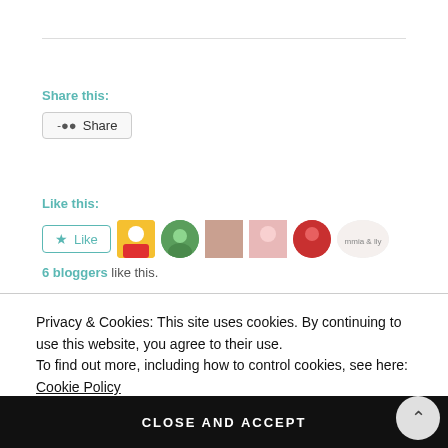Share this:
Share
Like this:
Like
6 bloggers like this.
Privacy & Cookies: This site uses cookies. By continuing to use this website, you agree to their use. To find out more, including how to control cookies, see here: Cookie Policy
CLOSE AND ACCEPT